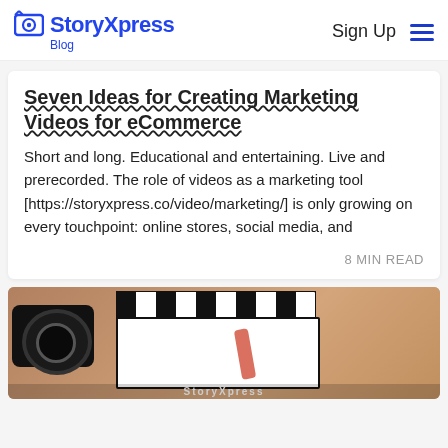StoryXpress Blog | Sign Up
Seven Ideas for Creating Marketing Videos for eCommerce
Short and long. Educational and entertaining. Live and prerecorded. The role of videos as a marketing tool [https://storyxpress.co/video/marketing/] is only growing on every touchpoint: online stores, social media, and
8 MIN READ
[Figure (photo): Photo of a camera and a film clapperboard being held by a hand, on a wooden surface background]